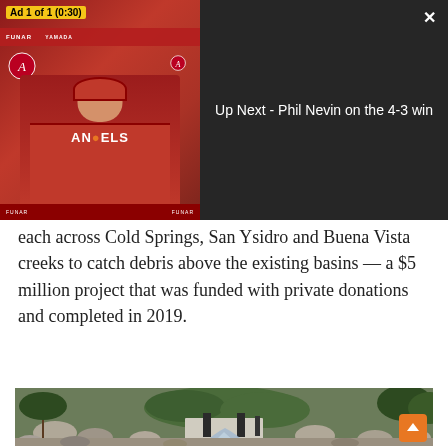[Figure (screenshot): Video player showing an ad (Ad 1 of 1, 0:30) of a man in an Angels baseball jersey at a press conference. Right side shows dark panel with text 'Up Next - Phil Nevin on the 4-3 win' and a close button (X).]
each across Cold Springs, San Ysidro and Buena Vista creeks to catch debris above the existing basins — a $5 million project that was funded with private donations and completed in 2019.
[Figure (photo): Outdoor photograph of a creek or drainage channel with rocks and small waterfall flowing through a concrete debris basin structure. Surrounded by vegetation and hills. An orange scroll-up arrow button is visible in the bottom right.]